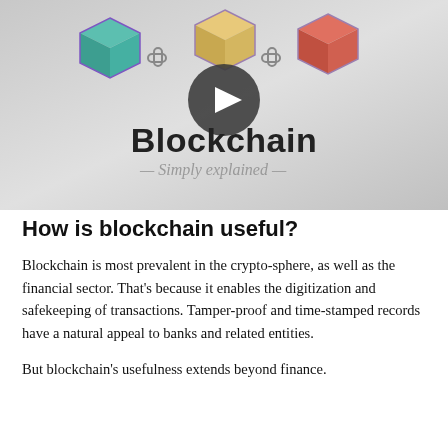[Figure (screenshot): Video thumbnail for 'Blockchain - Simply explained' showing three colored 3D block cubes (teal, yellow, red) linked by chain icons, with a dark play button circle in the center, and text 'Blockchain' in bold dark sans-serif and '— Simply explained —' in italic script below]
How is blockchain useful?
Blockchain is most prevalent in the crypto-sphere, as well as the financial sector. That's because it enables the digitization and safekeeping of transactions. Tamper-proof and time-stamped records have a natural appeal to banks and related entities.
But blockchain's usefulness extends beyond finance.